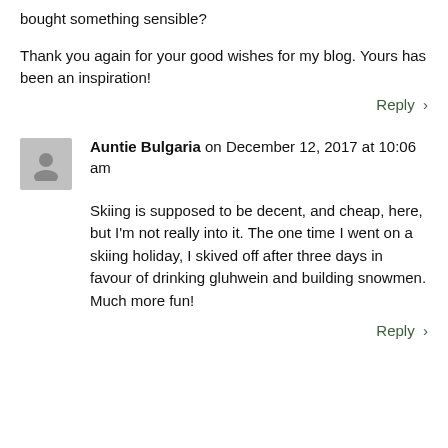bought something sensible?
Thank you again for your good wishes for my blog. Yours has been an inspiration!
Reply
Auntie Bulgaria on December 12, 2017 at 10:06 am
Skiing is supposed to be decent, and cheap, here, but I'm not really into it. The one time I went on a skiing holiday, I skived off after three days in favour of drinking gluhwein and building snowmen. Much more fun!
Reply